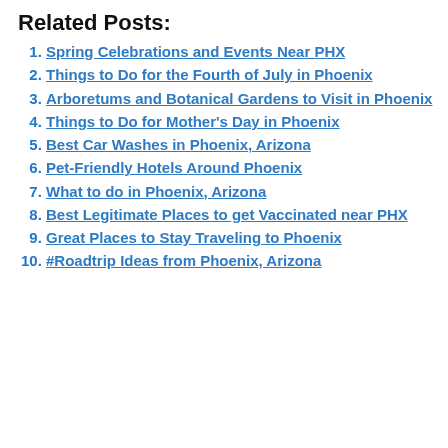Related Posts:
Spring Celebrations and Events Near PHX
Things to Do for the Fourth of July in Phoenix
Arboretums and Botanical Gardens to Visit in Phoenix
Things to Do for Mother's Day in Phoenix
Best Car Washes in Phoenix, Arizona
Pet-Friendly Hotels Around Phoenix
What to do in Phoenix, Arizona
Best Legitimate Places to get Vaccinated near PHX
Great Places to Stay Traveling to Phoenix
#Roadtrip Ideas from Phoenix, Arizona